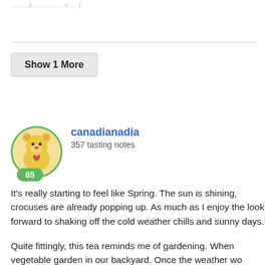...2... |
Show 1 More
canadianadia
357 tasting notes
It's really starting to feel like Spring. The sun is shining, crocuses are already popping up. As much as I enjoy the look forward to shaking off the cold weather chills and sunny days.
Quite fittingly, this tea reminds me of gardening. When vegetable garden in our backyard. Once the weather wo pulling weeds and preparing the soil. The garden had a would be taken over by mint. If you're not familiar with and can easily take over a garden. Despite this fact, I use